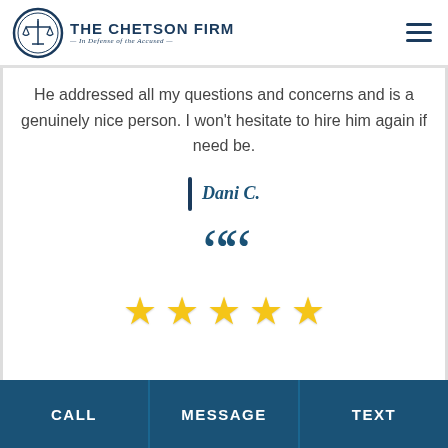[Figure (logo): The Chetson Firm logo — circular emblem with scales of justice, text 'THE CHETSON FIRM' and tagline 'In Defense of the Accused']
He addressed all my questions and concerns and is a genuinely nice person. I won't hesitate to hire him again if need be.
Dani C.
[Figure (illustration): Large dark blue decorative double opening quotation mark icon]
[Figure (illustration): Five gold star rating]
CALL | MESSAGE | TEXT